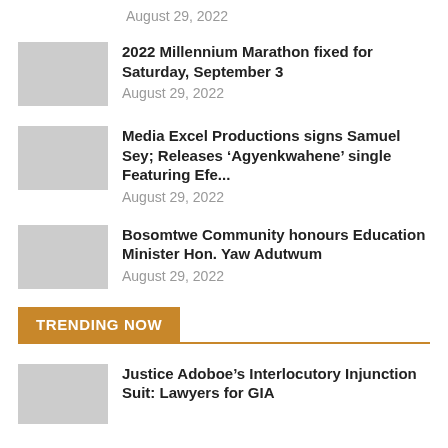August 29, 2022
2022 Millennium Marathon fixed for Saturday, September 3
August 29, 2022
Media Excel Productions signs Samuel Sey; Releases ‘Agyenkwahene’ single Featuring Efe...
August 29, 2022
Bosomtwe Community honours Education Minister Hon. Yaw Adutwum
August 29, 2022
TRENDING NOW
Justice Adoboe’s Interlocutory Injunction Suit: Lawyers for GIA